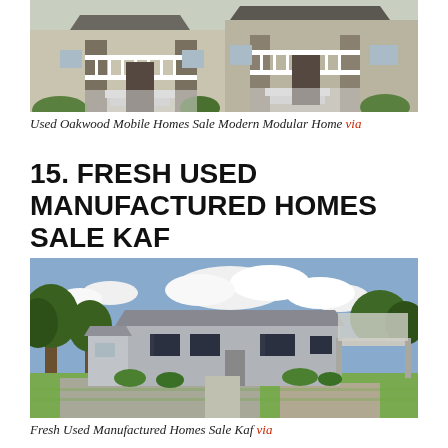[Figure (photo): Exterior photo of Oakwood mobile/modular homes with white railings, stone pillars, and steps leading to porches]
Used Oakwood Mobile Homes Sale Modern Modular Home via
15. FRESH USED MANUFACTURED HOMES SALE KAF
[Figure (photo): Exterior photo of used manufactured homes in a mobile home park with green lawns and trees]
Fresh Used Manufactured Homes Sale Kaf via